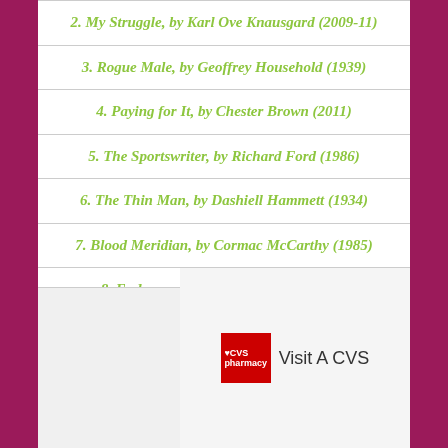2. My Struggle, by Karl Ove Knausgard (2009-11)
3. Rogue Male, by Geoffrey Household (1939)
4. Paying for It, by Chester Brown (2011)
5. The Sportswriter, by Richard Ford (1986)
6. The Thin Man, by Dashiell Hammett (1934)
7. Blood Meridian, by Cormac McCarthy (1985)
8. Endurance, by Alfred Lansing (1959)
9. Those Guys Have All the Fun, by James Andrew Miller and Tom Shales, (2011)